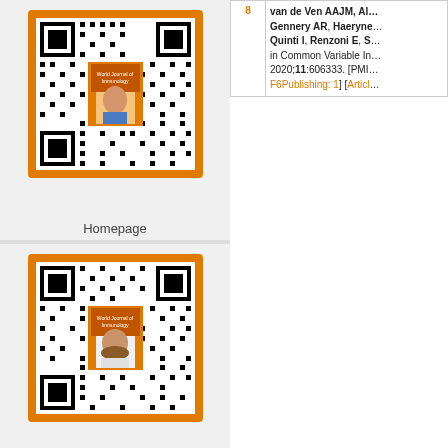[Figure (other): QR code card with orange background and journal cover thumbnail showing a person's photo, labeled Homepage]
Homepage
[Figure (other): QR code card with orange background and journal cover thumbnail showing a person's photo, labeled Online Submission]
Online Submission
|  |  |
| --- | --- |
| 8 | van de Ven AAJM, Al... Gennery AR, Haeryne... Quinti I, Renzoni E, S... in Common Variable In... 2020;11:606333. [PMI... F6Publishing: 1] [Articl... |